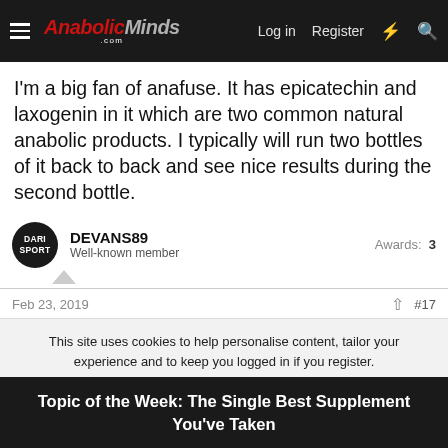AnabolicMinds.com — Log in | Register
I'm a big fan of anafuse. It has epicatechin and laxogenin in it which are two common natural anabolic products. I typically will run two bottles of it back to back and see nice results during the second bottle.
DEVANS89 — Well-known member — Awards: 3
Feb 23, 2019 — #17
This site uses cookies to help personalise content, tailor your experience and to keep you logged in if you register.
By continuing to use this site, you are consenting to our use of cookies.
Topic of the Week: The Single Best Supplement You've Taken